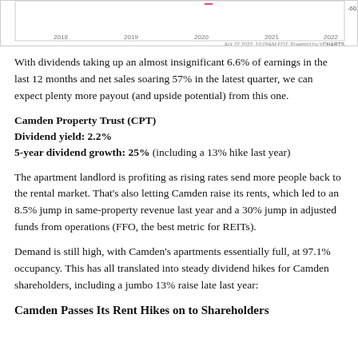[Figure (continuous-plot): Partial bottom of a YCharts line chart showing data from 2018 to 2022, with -60.00% label visible on the right axis. Footer reads: Apr 22 2022, 10:09AM EDT. Powered by YCHARTS]
With dividends taking up an almost insignificant 6.6% of earnings in the last 12 months and net sales soaring 57% in the latest quarter, we can expect plenty more payout (and upside potential) from this one.
Camden Property Trust (CPT)
Dividend yield: 2.2%
5-year dividend growth: 25% (including a 13% hike last year)
The apartment landlord is profiting as rising rates send more people back to the rental market. That's also letting Camden raise its rents, which led to an 8.5% jump in same-property revenue last year and a 30% jump in adjusted funds from operations (FFO, the best metric for REITs).
Demand is still high, with Camden’s apartments essentially full, at 97.1% occupancy. This has all translated into steady dividend hikes for Camden shareholders, including a jumbo 13% raise late last year:
Camden Passes Its Rent Hikes on to Shareholders